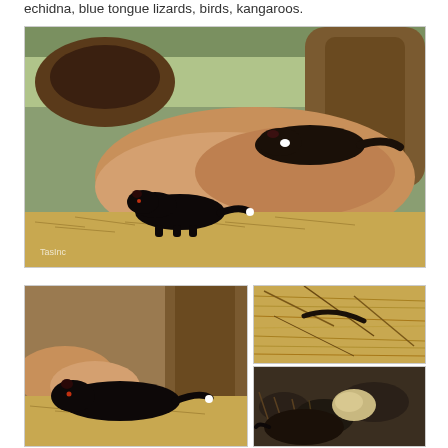echidna, blue tongue lizards, birds, kangaroos.
[Figure (photo): Tasmanian devils on rocks and hay in an outdoor enclosure with logs and greenery in background]
[Figure (photo): Tasmanian devil lying on hay near tree trunk]
[Figure (photo): Close-up of dried grass and sticks on ground]
[Figure (photo): Close-up of echidna or similar animal among leaves and soil]